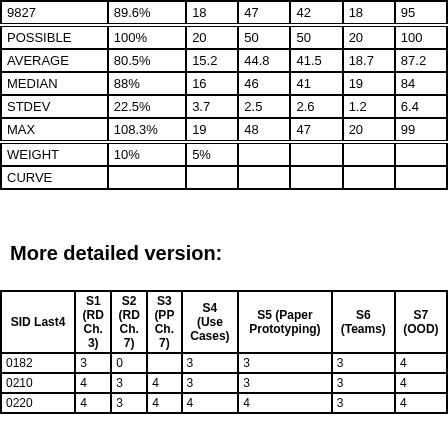|  |  |  |  |  |  |  |
| --- | --- | --- | --- | --- | --- | --- |
| 9827 | 89.6% | 18 | 47 | 42 | 18 | 95 |
| POSSIBLE | 100% | 20 | 50 | 50 | 20 | 100 |
| AVERAGE | 80.5% | 15.2 | 44.8 | 41.5 | 18.7 | 87.2 |
| MEDIAN | 88% | 16 | 46 | 41 | 19 | 84 |
| STDEV | 22.5% | 3.7 | 2.5 | 2.6 | 1.2 | 6.4 |
| MAX | 108.3% | 19 | 48 | 47 | 20 | 99 |
| WEIGHT | 10% | 5% |  |  |  |  |
| CURVE |  |  |  |  |  |  |
More detailed version:
| SID Last4 | S1 (RD Ch. 3) | S2 (RD Ch. 7) | S3 (PP Ch. 7) | S4 (Use Cases) | S5 (Paper Prototyping) | S6 (Teams) | S7 (OOD) |
| --- | --- | --- | --- | --- | --- | --- | --- |
| 0182 | 3 | 0 |  | 3 | 3 | 3 | 4 |
| 0210 | 4 | 3 | 4 | 3 | 3 | 3 | 4 |
| 0220 | 4 | 3 | 4 | 4 | 4 | 3 | 4 |